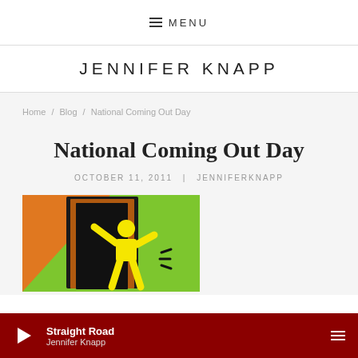MENU
JENNIFER KNAPP
Home / Blog / National Coming Out Day
National Coming Out Day
OCTOBER 11, 2011 | JENNIFERKNAPP
[Figure (illustration): Colorful illustration of a figure coming out of a door, green and orange background, black silhouette door, yellow human figure pushing door open - Keith Haring style art for National Coming Out Day]
Straight Road | Jennifer Knapp